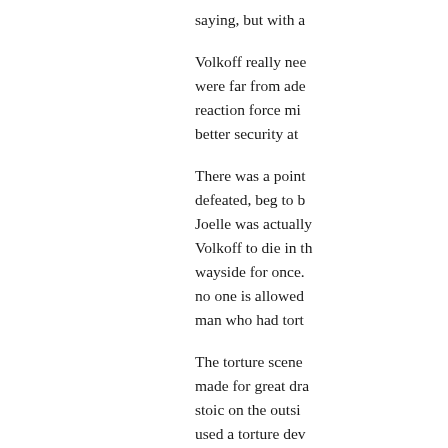saying, but with a
Volkoff really nee were far from ade reaction force mi better security at
There was a point defeated, beg to b Joelle was actually Volkoff to die in th wayside for once. no one is allowed man who had tort
The torture scene made for great dra stoic on the outsi used a torture dev they are doing... m